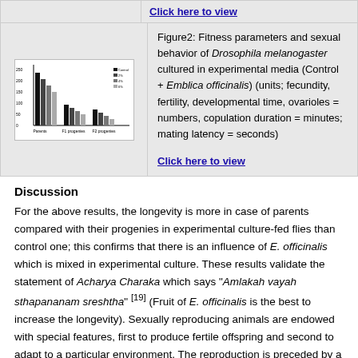Click here to view
[Figure (bar-chart): Bar chart showing fitness parameters and sexual behavior of Drosophila melanogaster in experimental media]
Figure2: Fitness parameters and sexual behavior of Drosophila melanogaster cultured in experimental media (Control + Emblica officinalis) (units; fecundity, fertility, developmental time, ovarioles = numbers, copulation duration = minutes; mating latency = seconds)
Click here to view
Discussion
For the above results, the longevity is more in case of parents compared with their progenies in experimental culture-fed flies than control one; this confirms that there is an influence of E. officinalis which is mixed in experimental culture. These results validate the statement of Acharya Charaka which says "Amlakah vayah sthapananam sreshtha" [19] (Fruit of E. officinalis is the best to increase the longevity). Sexually reproducing animals are endowed with special features, first to produce fertile offspring and second to adapt to a particular environment. The reproduction is preceded by a series of courtship acts wherein males and